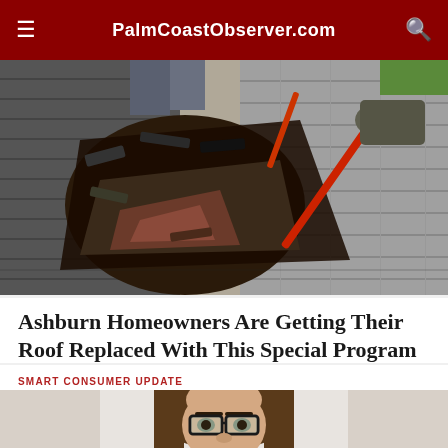PalmCoastObserver.com
[Figure (photo): Workers removing old shingles from a roof, shown from above. Torn-up roofing material visible in the center, with tools and workers' hands/feet visible.]
Ashburn Homeowners Are Getting Their Roof Replaced With This Special Program
SMART CONSUMER UPDATE
[Figure (photo): Partial photo of a woman with long brown hair wearing glasses, cropped to show from shoulders up.]